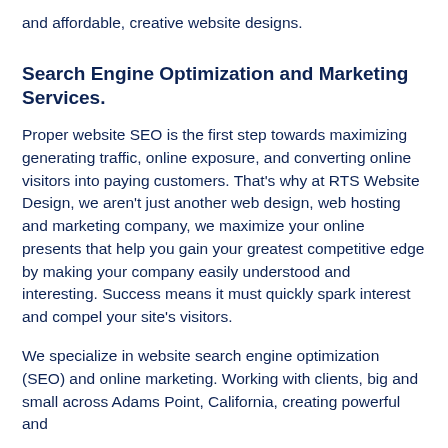and affordable, creative website designs.
Search Engine Optimization and Marketing Services.
Proper website SEO is the first step towards maximizing generating traffic, online exposure, and converting online visitors into paying customers. That’s why at RTS Website Design, we aren’t just another web design, web hosting and marketing company, we maximize your online presents that help you gain your greatest competitive edge by making your company easily understood and interesting. Success means it must quickly spark interest and compel your site’s visitors.
We specialize in website search engine optimization (SEO) and online marketing. Working with clients, big and small across Adams Point, California, creating powerful and